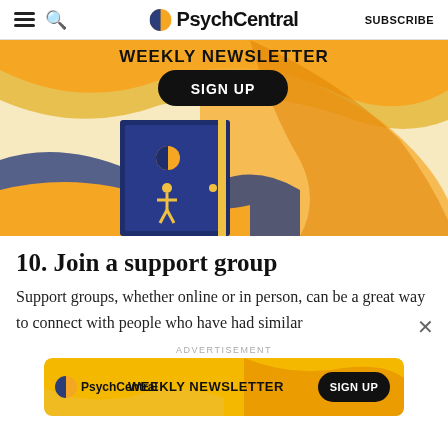PsychCentral  SUBSCRIBE
[Figure (illustration): PsychCentral Weekly Newsletter promotional banner with colorful wavy orange, yellow, and blue illustration of an open door with flowing waves. Contains 'WEEKLY NEWSLETTER' heading and black 'SIGN UP' button.]
10. Join a support group
Support groups, whether online or in person, can be a great way to connect with people who have had similar
ADVERTISEMENT
[Figure (illustration): PsychCentral Weekly Newsletter bottom advertisement banner with orange/yellow gradient background, PsychCentral logo, 'WEEKLY NEWSLETTER' text, and 'SIGN UP' button.]